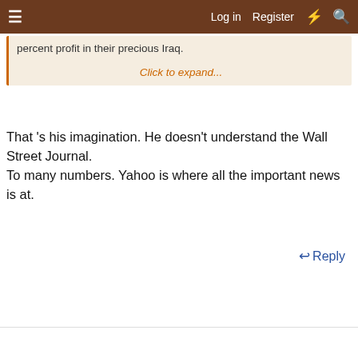≡  Log in  Register  ⚡  🔍
percent profit in their precious Iraq.
Click to expand...
That 's his imagination. He doesn't understand the Wall Street Journal.
To many numbers. Yahoo is where all the important news is at.
↩ Reply